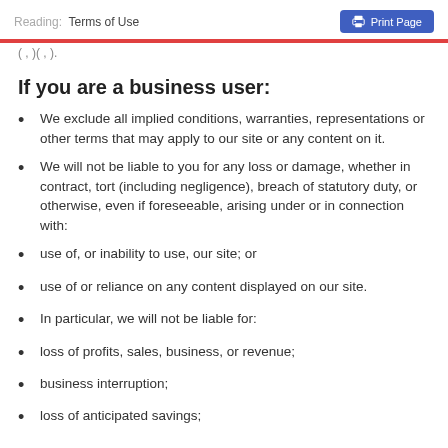Reading: Terms of Use
If you are a business user:
We exclude all implied conditions, warranties, representations or other terms that may apply to our site or any content on it.
We will not be liable to you for any loss or damage, whether in contract, tort (including negligence), breach of statutory duty, or otherwise, even if foreseeable, arising under or in connection with:
use of, or inability to use, our site; or
use of or reliance on any content displayed on our site.
In particular, we will not be liable for:
loss of profits, sales, business, or revenue;
business interruption;
loss of anticipated savings;